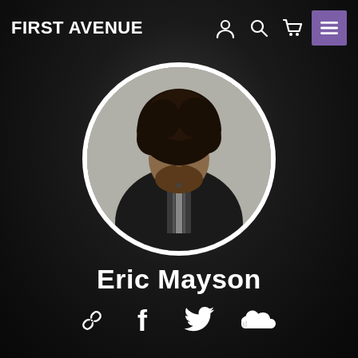FIRST AVENUE
[Figure (photo): Circular profile photo of Eric Mayson, a man with large curly hair wearing a dark jacket and striped tie, against a light background. The photo is set within a white-bordered circle on a dark background.]
Eric Mayson
[Figure (infographic): Social media icon links row: chain link (website), Facebook f, Twitter bird, SoundCloud waveform cloud icons in white on dark background.]